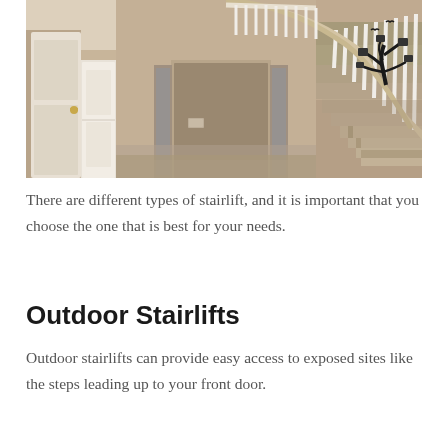[Figure (photo): Interior photo of a large home foyer with a curved staircase featuring white balusters and wooden handrail sweeping up along the right side. The walls are beige/tan. A decorative black tree wall decal with photo frames is visible on the right wall. A door with sidelights is visible in the background center, and a front door with gold hardware is on the left.]
There are different types of stairlift, and it is important that you choose the one that is best for your needs.
Outdoor Stairlifts
Outdoor stairlifts can provide easy access to exposed sites like the steps leading up to your front door.